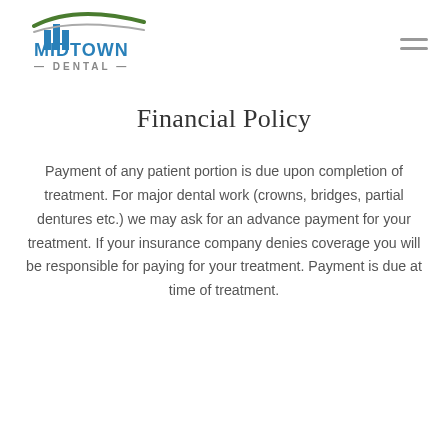[Figure (logo): Midtown Dental logo with blue building icon and green swoosh, company name in blue and gray]
Financial Policy
Payment of any patient portion is due upon completion of treatment. For major dental work (crowns, bridges, partial dentures etc.) we may ask for an advance payment for your treatment. If your insurance company denies coverage you will be responsible for paying for your treatment. Payment is due at time of treatment.